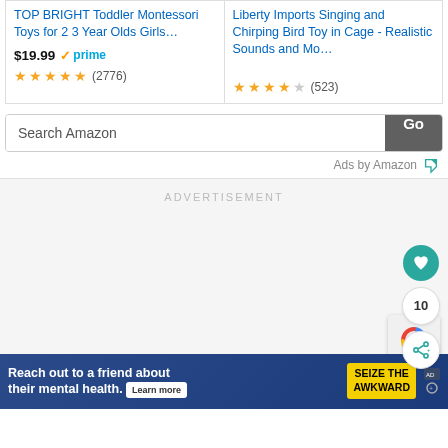TOP BRIGHT Toddler Montessori Toys for 2 3 Year Olds Girls…
$19.99 ✓prime
★★★★★ (2776)
Liberty Imports Singing and Chirping Bird Toy in Cage - Realistic Sounds and Mo…
★★★★☆ (523)
Search Amazon
Go
Ads by Amazon
ADVERTISEMENT
10
Reach out to a friend about their mental health.
SEIZE THE AWKWARD
Learn more